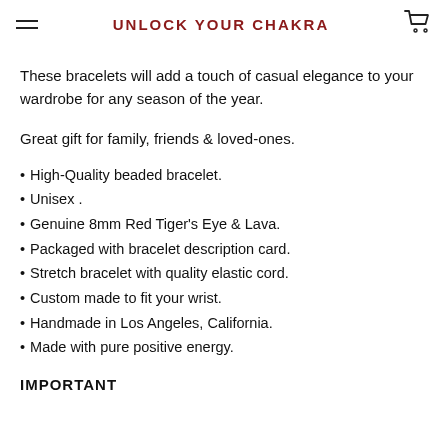UNLOCK YOUR CHAKRA
These bracelets will add a touch of casual elegance to your wardrobe for any season of the year.
Great gift for family, friends & loved-ones.
High-Quality beaded bracelet.
Unisex .
Genuine 8mm Red Tiger's Eye & Lava.
Packaged with bracelet description card.
Stretch bracelet with quality elastic cord.
Custom made to fit your wrist.
Handmade in Los Angeles, California.
Made with pure positive energy.
IMPORTANT